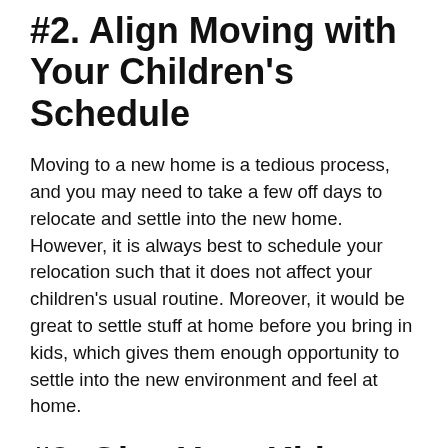#2. Align Moving with Your Children's Schedule
Moving to a new home is a tedious process, and you may need to take a few off days to relocate and settle into the new home. However, it is always best to schedule your relocation such that it does not affect your children's usual routine. Moreover, it would be great to settle stuff at home before you bring in kids, which gives them enough opportunity to settle into the new environment and feel at home.
#3. Give Your Kids an Opportunity to Explore the New Neighborhood